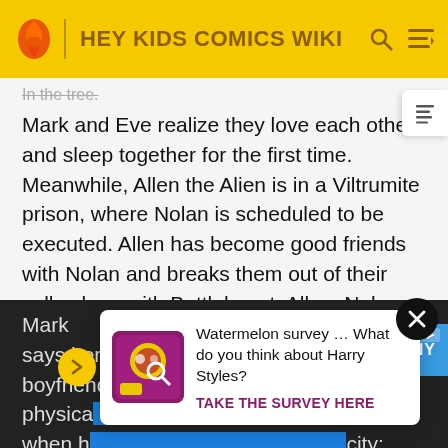HEY KIDS COMICS WIKI
In the tree.
Mark and Eve realize they love each other, and sleep together for the first time. Meanwhile, Allen the Alien is in a Viltrumite prison, where Nolan is scheduled to be executed. Allen has become good friends with Nolan and breaks them out of their cells along with Battlebeast. Allen, Nolan, and Battlebeast fight the Viltrumites and eventually... only 50 p...
[Figure (infographic): Pop-up survey ad: Watermelon survey image thumbnail, text 'Watermelon survey … What do you think about Harry Styles?' with CTA 'TAKE THE SURVEY HERE' in purple bold text]
Mark ... She says her father has died and her new boyfriend Gary is physical... he city when h... city:
[Figure (infographic): Best Buy advertisement banner: 'BEST BUY.' logo on left, 'Experience amazing.' text in white, 'SONY' text on right, blue gradient background]